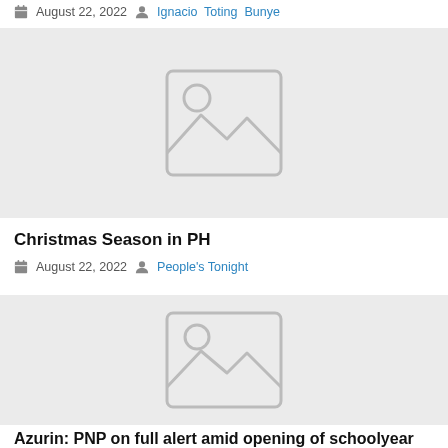August 22, 2022  Ignacio  Toting  Bunye
[Figure (photo): Placeholder image thumbnail for article 'Christmas Season in PH']
Christmas Season in PH
August 22, 2022  People's Tonight
[Figure (photo): Placeholder image thumbnail for article 'Azurin: PNP on full alert amid opening of schoolyear']
Azurin: PNP on full alert amid opening of schoolyear